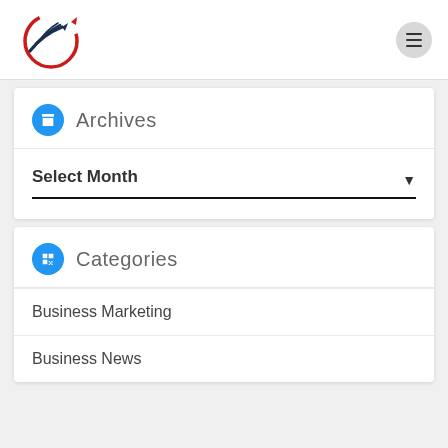[Figure (logo): Business growth logo with arrows in a circle, red and dark blue]
Archives
Select Month
Categories
Business Marketing
Business News